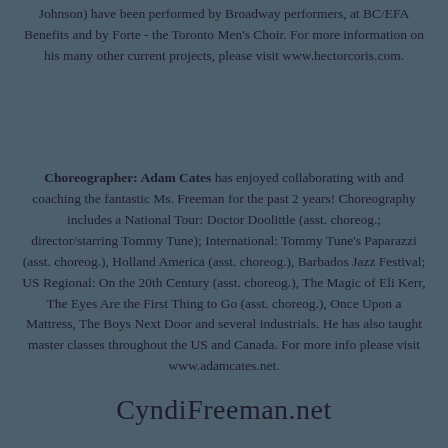Johnson) have been performed by Broadway performers, at BC/EFA Benefits and by Forte - the Toronto Men's Choir. For more information on his many other current projects, please visit www.hectorcoris.com.
Choreographer: Adam Cates has enjoyed collaborating with and coaching the fantastic Ms. Freeman for the past 2 years! Choreography includes a National Tour: Doctor Doolittle (asst. choreog.; director/starring Tommy Tune); International: Tommy Tune's Paparazzi (asst. choreog.), Holland America (asst. choreog.), Barbados Jazz Festival; US Regional: On the 20th Century (asst. choreog.), The Magic of Eli Kerr, The Eyes Are the First Thing to Go (asst. choreog.), Once Upon a Mattress, The Boys Next Door and several industrials. He has also taught master classes throughout the US and Canada. For more info please visit www.adamcates.net.
CyndiFreeman.net